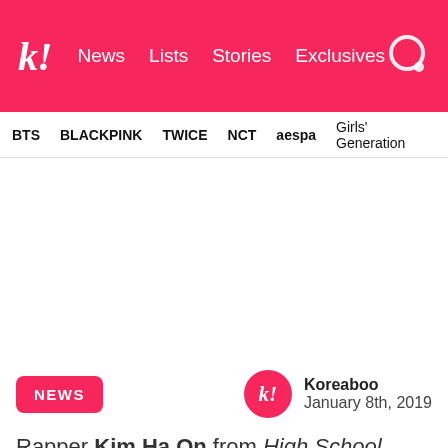k! News Lists Stories Exclusives
BTS  BLACKPINK  TWICE  NCT  aespa  Girls' Generation
[Figure (other): Large white blank area, likely an advertisement placeholder]
NEWS
Koreaboo
January 8th, 2019
Rapper Kim Ha On from High School Rapper Season 2 transformed from a man with swag to